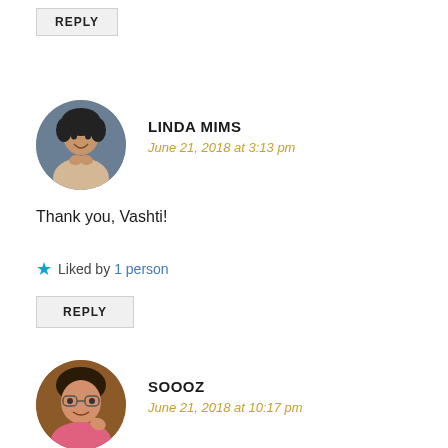REPLY
LINDA MIMS
June 21, 2018 at 3:13 pm
[Figure (photo): Circular avatar photo of Linda Mims, a woman smiling]
Thank you, Vashti!
Liked by 1 person
REPLY
[Figure (photo): Circular avatar photo of Soooz, a woman with glasses]
SOOOZ
June 21, 2018 at 10:17 pm